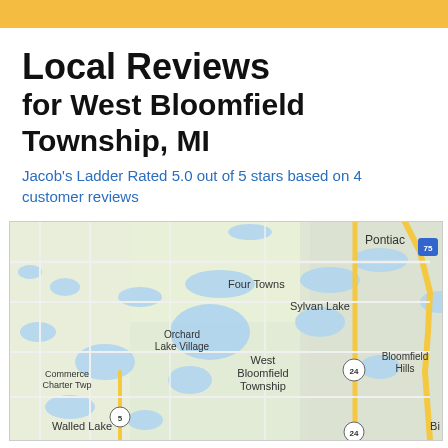Local Reviews
for West Bloomfield Township, MI
Jacob's Ladder Rated 5.0 out of 5 stars based on 4 customer reviews
[Figure (map): Google Maps view of West Bloomfield Township, MI area showing Pontiac, Four Towns, Sylvan Lake, Orchard Lake Village, West Bloomfield Township, Commerce Charter Twp, Bloomfield Hills, Walled Lake, and highway markers 75, 24, 5]